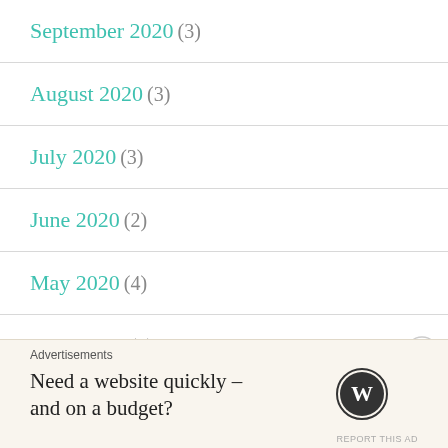September 2020 (3)
August 2020 (3)
July 2020 (3)
June 2020 (2)
May 2020 (4)
April 2020 (1)
March 2020 (3)
Advertisements
Need a website quickly – and on a budget?